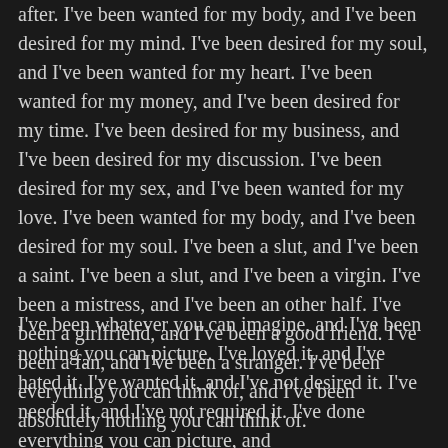after. I've been wanted for my body, and I've been desired for my mind. I've been desired for my soul, and I've been wanted for my heart. I've been wanted for my money, and I've been desired for my time. I've been desired for my business, and I've been desired for my discussion. I've been desired for my sex, and I've been wanted for my love. I've been wanted for my body, and I've been desired for my soul. I've been a slut, and I've been a saint. I've been a slut, and I've been a virgin. I've been a mistress, and I've been an other half. I've been a girlfriend, and I've been a good friend. I've been a fan, and I've been a stranger. I've been everything you can think of, and I've been absolutely nothing you can think of.
I've been whatever you can imagine, and I've been nothing you can picture. I've loved it, and I've hated it. I've wanted it, and I've not desired it. I've needed it, and I've not required it. I've done everything you can picture, and